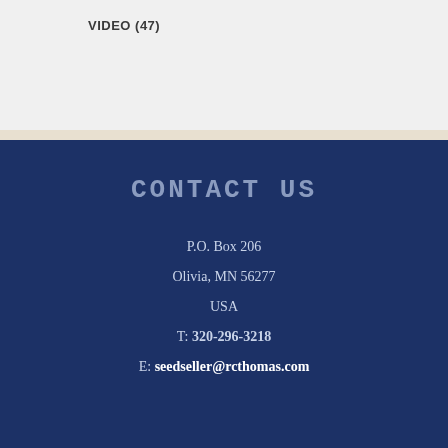VIDEO (47)
CONTACT US
P.O. Box 206
Olivia, MN 56277
USA
T: 320-296-3218
E: seedseller@rcthomas.com